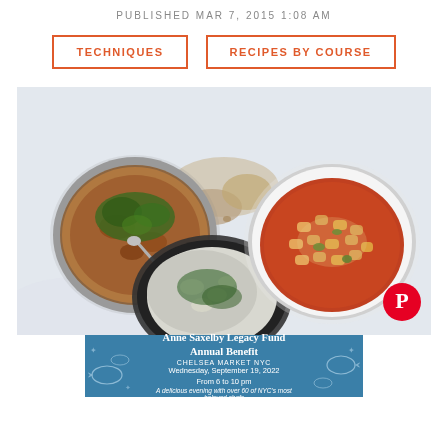PUBLISHED MAR 7, 2015 1:08 AM
TECHNIQUES
RECIPES BY COURSE
[Figure (photo): Overhead photo of three bowls of food on a white surface: a dark bowl with a bean and herb stew with a spoon, a dark plate with creamy beans and greens, and a white bowl with gnocchi or pasta in tomato sauce with vegetables. Pieces of bread are visible in the center.]
[Figure (other): Advertisement banner for Anne Saxelby Legacy Fund Annual Benefit at Chelsea Market NYC, Wednesday September 19, 2022, from 6 to 10 pm. A delicious evening with over 60 of NYC's most beloved chefs. Blue background with illustrated fish/seafood decorations.]